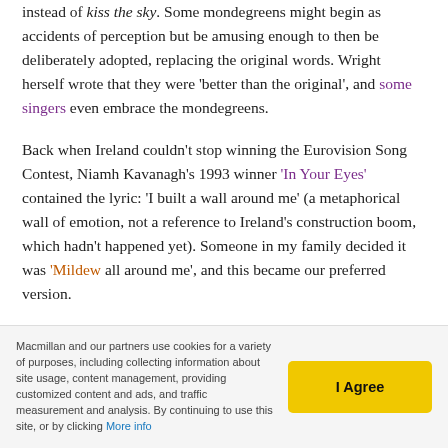instead of kiss the sky. Some mondegreens might begin as accidents of perception but be amusing enough to then be deliberately adopted, replacing the original words. Wright herself wrote that they were 'better than the original', and some singers even embrace the mondegreens.
Back when Ireland couldn't stop winning the Eurovision Song Contest, Niamh Kavanagh's 1993 winner 'In Your Eyes' contained the lyric: 'I built a wall around me' (a metaphorical wall of emotion, not a reference to Ireland's construction boom, which hadn't happened yet). Someone in my family decided it was 'Mildew all around me', and this became our preferred version.
The potential for comedy is obvious, as in the tirelessly silly reinterpretation of Joe Cocker singing 'With A Little Help From My Friends' at Woodstock ('Oh, I'll take this almond
Macmillan and our partners use cookies for a variety of purposes, including collecting information about site usage, content management, providing customized content and ads, and traffic measurement and analysis. By continuing to use this site, or by clicking More info